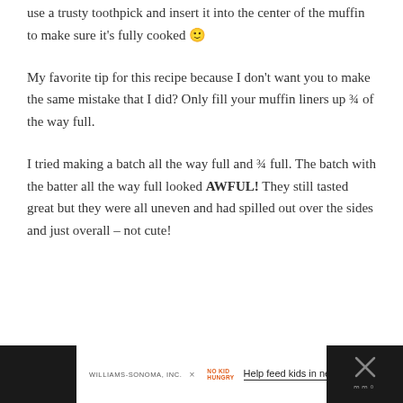use a trusty toothpick and insert it into the center of the muffin to make sure it's fully cooked 🙂
My favorite tip for this recipe because I don't want you to make the same mistake that I did? Only fill your muffin liners up ¾ of the way full.
I tried making a batch all the way full and ¾ full. The batch with the batter all the way full looked AWFUL! They still tasted great but they were all uneven and had spilled out over the sides and just overall – not cute!
WILLIAMS-SONOMA, INC. × NO KID HUNGRY – Help feed kids in need →